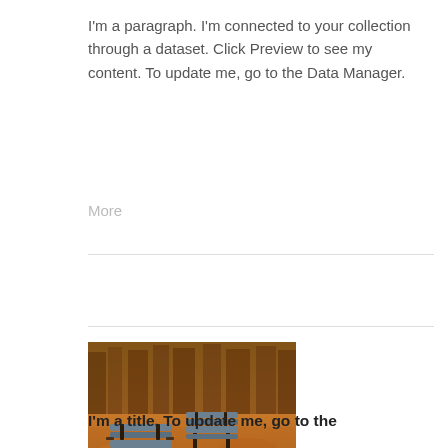I'm a paragraph. I'm connected to your collection through a dataset. Click Preview to see my content. To update me, go to the Data Manager.
More
[Figure (photo): Two wooden park benches on an autumn park ground covered with orange and yellow fallen leaves, with trees in the background.]
I'm a title. To update me, go to the